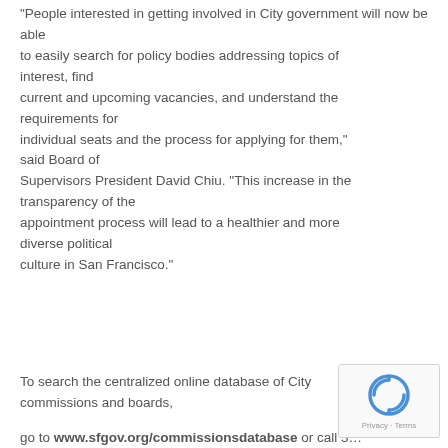“People interested in getting involved in City government will now be able to easily search for policy bodies addressing topics of interest, find current and upcoming vacancies, and understand the requirements for individual seats and the process for applying for them,” said Board of Supervisors President David Chiu. “This increase in the transparency of the appointment process will lead to a healthier and more diverse political culture in San Francisco.”
To search the centralized online database of City commissions and boards, go to www.sfgov.org/commissionsdatabase or call 3...